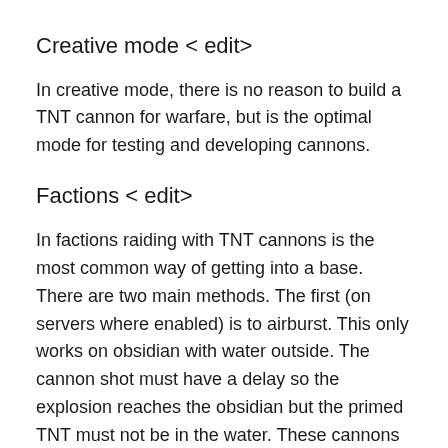Creative mode < edit>
In creative mode, there is no reason to build a TNT cannon for warfare, but is the optimal mode for testing and developing cannons.
Factions < edit>
In factions raiding with TNT cannons is the most common way of getting into a base. There are two main methods. The first (on servers where enabled) is to airburst. This only works on obsidian with water outside. The cannon shot must have a delay so the explosion reaches the obsidian but the primed TNT must not be in the water. These cannons will not work on other walls. The other method is with hybrid cannons